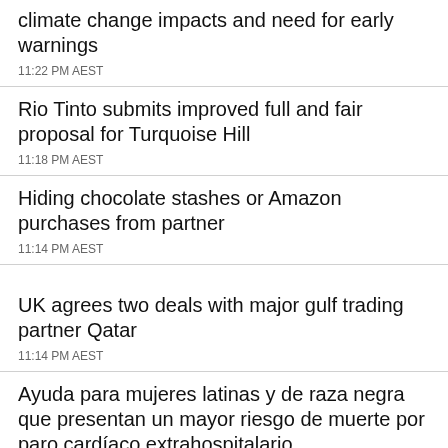climate change impacts and need for early warnings
11:22 PM AEST
Rio Tinto submits improved full and fair proposal for Turquoise Hill
11:18 PM AEST
Hiding chocolate stashes or Amazon purchases from partner
11:14 PM AEST
UK agrees two deals with major gulf trading partner Qatar
11:14 PM AEST
Ayuda para mujeres latinas y de raza negra que presentan un mayor riesgo de muerte por paro cardíaco extrahospitalario
11:10 PM AEST